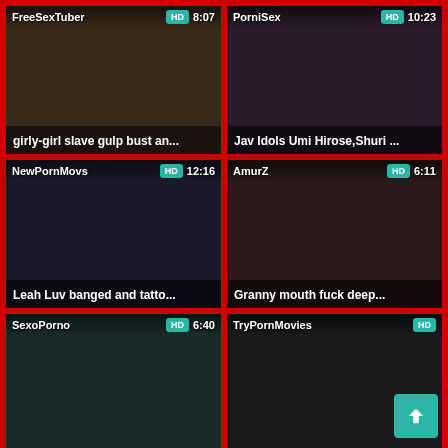[Figure (screenshot): Video thumbnail grid showing 6 adult video thumbnails with site names, HD badges, durations, and titles on a red background]
FreeSexTuber HD 8:07 girly-girl slave gulp bust an...
PorniSex HD 10:23 Jav Idols Umi Hirose,Shuri ...
NewPornMovs HD 12:16 Leah Luv banged and tatto...
AmurZ HD 6:11 Granny mouth fuck deep...
SexoPorno HD 6:40
TryPornMovies HD